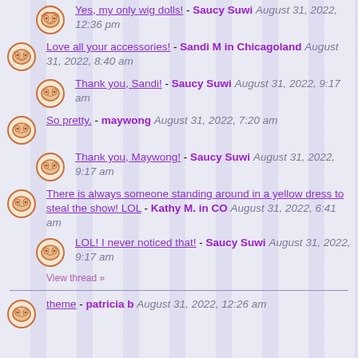Yes, my only wig dolls! - Saucy Suwi August 31, 2022, 12:36 pm
Love all your accessories! - Sandi M in Chicagoland August 31, 2022, 8:40 am
Thank you, Sandi! - Saucy Suwi August 31, 2022, 9:17 am
So pretty. - maywong August 31, 2022, 7:20 am
Thank you, Maywong! - Saucy Suwi August 31, 2022, 9:17 am
There is always someone standing around in a yellow dress to steal the show! LOL - Kathy M. in CO August 31, 2022, 6:41 am
LOL! I never noticed that! - Saucy Suwi August 31, 2022, 9:17 am
View thread »
theme - patricia b August 31, 2022, 12:26 am